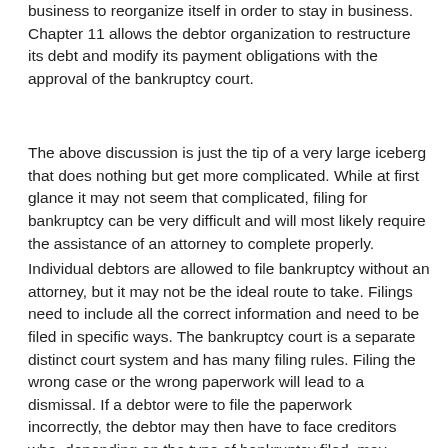business to reorganize itself in order to stay in business. Chapter 11 allows the debtor organization to restructure its debt and modify its payment obligations with the approval of the bankruptcy court.
The above discussion is just the tip of a very large iceberg that does nothing but get more complicated. While at first glance it may not seem that complicated, filing for bankruptcy can be very difficult and will most likely require the assistance of an attorney to complete properly.
Individual debtors are allowed to file bankruptcy without an attorney, but it may not be the ideal route to take. Filings need to include all the correct information and need to be filed in specific ways. The bankruptcy court is a separate distinct court system and has many filing rules. Filing the wrong case or the wrong paperwork will lead to a dismissal. If a debtor were to file the paperwork incorrectly, the debtor may then have to face creditors who, depending on the type of bankruptcy filed, may attempt to prevent you from filing.